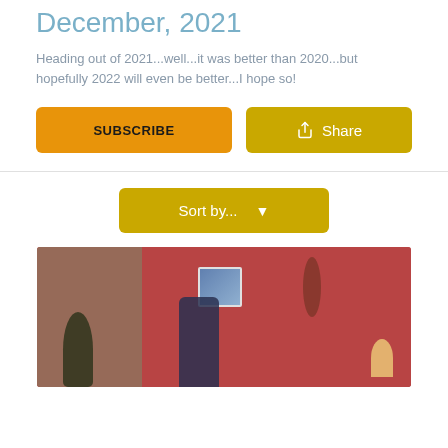December, 2021
Heading out of 2021...well...it was better than 2020...but hopefully 2022 will even be better...I hope so!
[Figure (screenshot): SUBSCRIBE button (orange/amber) and Share button (yellow-gold) side by side]
[Figure (screenshot): Sort by... dropdown button in yellow-gold color with chevron]
[Figure (photo): Photo of a person doing a yoga or stretching pose in a room with salmon/red walls, a plant, wall art, and a lamp]